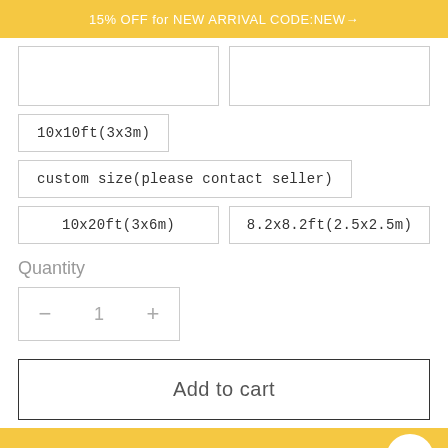15% OFF for NEW ARRIVAL CODE:NEW →
10x10ft(3x3m)
custom size(please contact seller)
10x20ft(3x6m)
8.2x8.2ft(2.5x2.5m)
Quantity
- 1 +
Add to cart
Buy it now